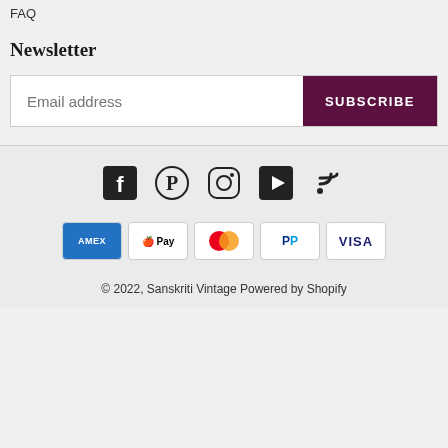FAQ
Newsletter
Email address
SUBSCRIBE
[Figure (infographic): Social media icons: Facebook, Pinterest, Instagram, YouTube, RSS feed]
[Figure (infographic): Payment method icons: American Express, Apple Pay, Mastercard, PayPal, Visa]
© 2022, Sanskriti Vintage Powered by Shopify